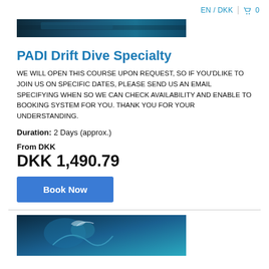EN / DKK  🛒 0
[Figure (photo): Top portion of an underwater/ocean scene image, dark blue tones]
PADI Drift Dive Specialty
WE WILL OPEN THIS COURSE UPON REQUEST, SO IF YOU'DLIKE TO JOIN US ON SPECIFIC DATES, PLEASE SEND US AN EMAIL SPECIFYING WHEN SO WE CAN CHECK AVAILABILITY AND ENABLE TO BOOKING SYSTEM FOR YOU. THANK YOU FOR YOUR UNDERSTANDING.
Duration: 2 Days (approx.)
From DKK
DKK 1,490.79
Book Now
[Figure (photo): Underwater scene with a diver's hands visible, blue tones]